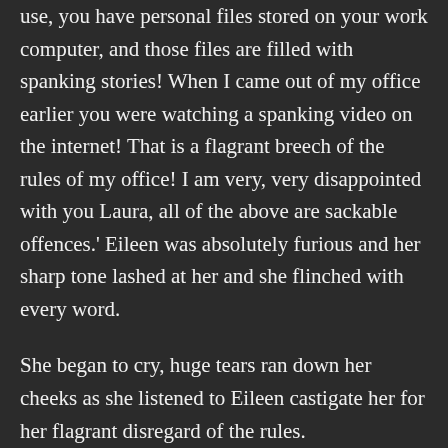use, you have personal files stored on your work computer, and those files are filled with spanking stories! When I came out of my office earlier you were watching a spanking video on the internet! That is a flagrant breech of the rules of my office! I am very, very disappointed with you Laura, all of the above are sackable offences.' Eileen was absolutely furious and her sharp tone lashed at her and she flinched with every word.
She began to cry, huge tears ran down her cheeks as she listened to Eileen castigate her for her flagrant disregard of the rules.
'Oh do stop that!' Eileen snapped waspishly. 'I am not going to fire you, you silly girl, it has taken me far too long to train you, just to fire you now! I would have to start all over again with a new assistant! Far too